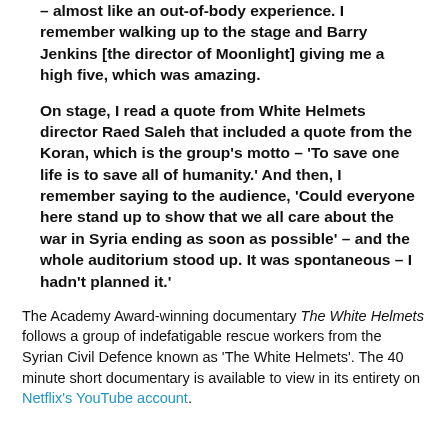announcement was made it was a total shock – almost like an out-of-body experience. I remember walking up to the stage and Barry Jenkins [the director of Moonlight] giving me a high five, which was amazing.
On stage, I read a quote from White Helmets director Raed Saleh that included a quote from the Koran, which is the group's motto – 'To save one life is to save all of humanity.' And then, I remember saying to the audience, 'Could everyone here stand up to show that we all care about the war in Syria ending as soon as possible' – and the whole auditorium stood up. It was spontaneous – I hadn't planned it.'
The Academy Award-winning documentary The White Helmets follows a group of indefatigable rescue workers from the Syrian Civil Defence known as 'The White Helmets'. The 40 minute short documentary is available to view in its entirety on Netflix's YouTube account.